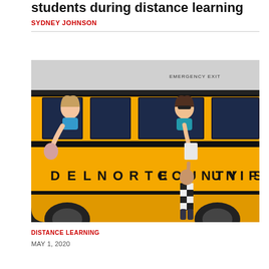students during distance learning
SYDNEY JOHNSON
[Figure (photo): A yellow school bus labeled DEL NORTE COUNTY UNIFIED SCHOOL (DISTRICT) with two women leaning out the windows handing materials to a child standing below reaching up, outdoors in daylight.]
DISTANCE LEARNING
MAY 1, 2020